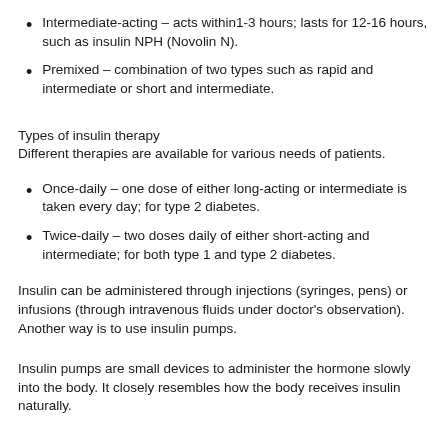Intermediate-acting – acts within1-3 hours; lasts for 12-16 hours, such as insulin NPH (Novolin N).
Premixed – combination of two types such as rapid and intermediate or short and intermediate.
Types of insulin therapy
Different therapies are available for various needs of patients.
Once-daily – one dose of either long-acting or intermediate is taken every day; for type 2 diabetes.
Twice-daily – two doses daily of either short-acting and intermediate; for both type 1 and type 2 diabetes.
Insulin can be administered through injections (syringes, pens) or infusions (through intravenous fluids under doctor's observation). Another way is to use insulin pumps.
Insulin pumps are small devices to administer the hormone slowly into the body. It closely resembles how the body receives insulin naturally.